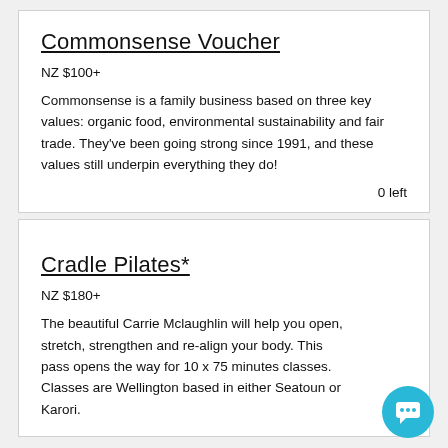Commonsense Voucher
NZ $100+
Commonsense is a family business based on three key values: organic food, environmental sustainability and fair trade. They've been going strong since 1991, and these values still underpin everything they do!
0 left
Cradle Pilates*
NZ $180+
The beautiful Carrie Mclaughlin will help you open, stretch, strengthen and re-align your body. This pass opens the way for 10 x 75 minutes classes. Classes are Wellington based in either Seatoun or Karori.